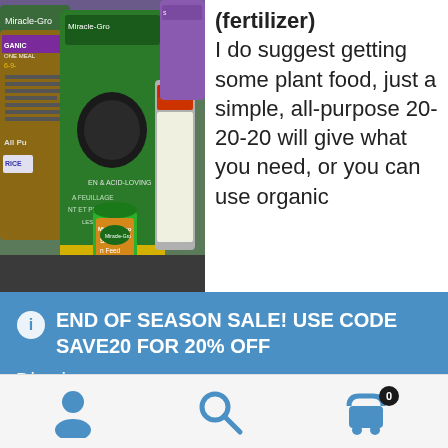[Figure (photo): Photo of Miracle-Gro plant fertilizer products including bags and bottles on a shelf]
(fertilizer)
I do suggest getting some plant food, just a simple, all-purpose 20-20-20 will give what you need, or you can use organic
END OF SEASON SALE! USE CODE SAVE20 FOR 20% OFF
Dismiss